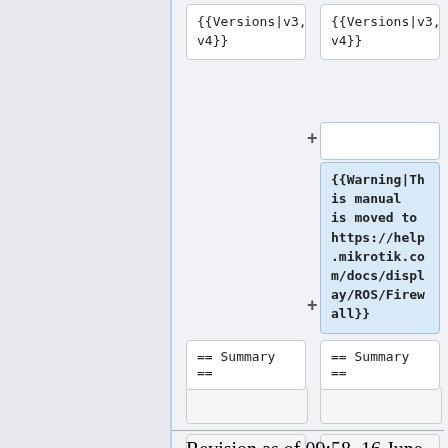{{Versions|v3, v4}}
{{Versions|v3, v4}}
{{Warning|This manual is moved to https://help.mikrotik.com/docs/display/ROS/Firewall}}
== Summary ==
== Summary ==
Revision as of 09:58, 16 June 2020